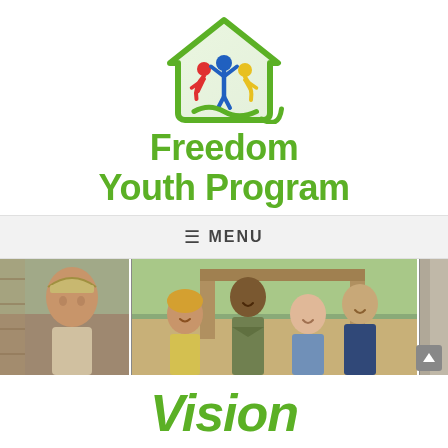[Figure (logo): Freedom Youth Program logo: green house/leaf outline containing colorful figures of people with arms raised, above green bold text 'Freedom Youth Program']
≡ MENU
[Figure (photo): A horizontal photo strip showing diverse teenage boys in outdoor/camp settings: a boy in a bandana on the left, a group of smiling boys in the center, and a smiling boy near a building on the right.]
Vision